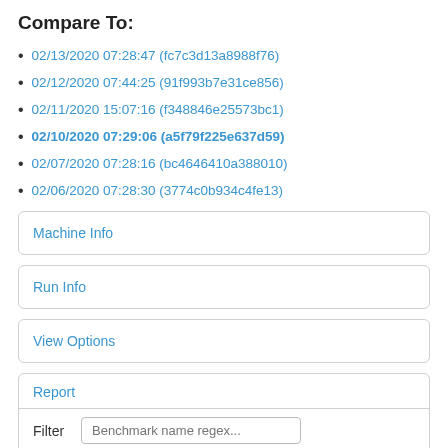Compare To:
02/13/2020 07:28:47 (fc7c3d13a8988f76)
02/12/2020 07:44:25 (91f993b7e31ce856)
02/11/2020 15:07:16 (f348846e25573bc1)
02/10/2020 07:29:06 (a5f79f225e637d59)
02/07/2020 07:28:16 (bc4646410a388010)
02/06/2020 07:28:30 (3774c0b934c4fe13)
Machine Info
Run Info
View Options
Report
Filter  Benchmark name regex...